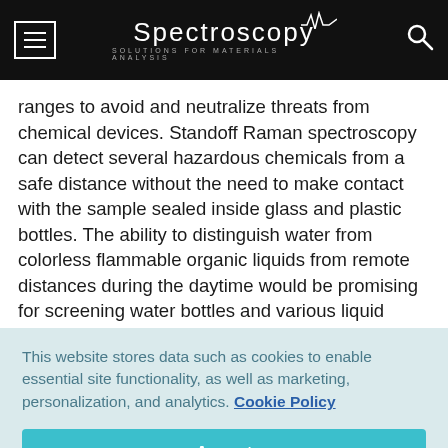Spectroscopy — Solutions for Materials Analysis
ranges to avoid and neutralize threats from chemical devices. Standoff Raman spectroscopy can detect several hazardous chemicals from a safe distance without the need to make contact with the sample sealed inside glass and plastic bottles. The ability to distinguish water from colorless flammable organic liquids from remote distances during the daytime would be promising for screening water bottles and various liquid containers at airports. Suspicious chemicals
This website stores data such as cookies to enable essential site functionality, as well as marketing, personalization, and analytics. Cookie Policy
Accept
Deny